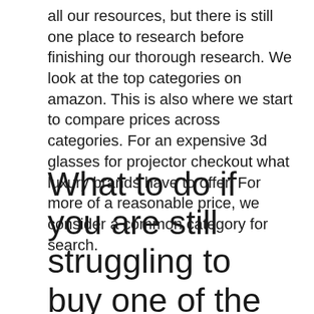all our resources, but there is still one place to research before finishing our thorough research. We look at the top categories on amazon. This is also where we start to compare prices across categories. For an expensive 3d glasses for projector checkout what luxury brands have to offer. For more of a reasonable price, we consider a common category for search.
What to do if you are still struggling to buy one of the 10 best 3d glasses for projector on amazon: